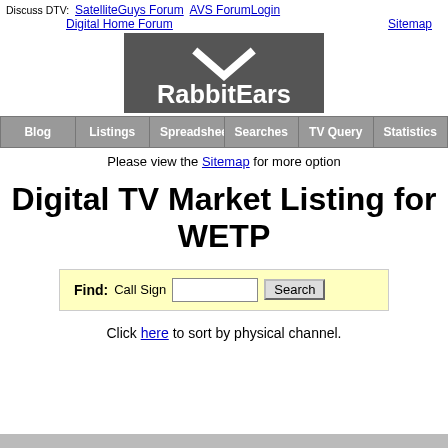Discuss DTV: SatelliteGuys Forum  AVS Forum  Login  Sitemap  Digital Home Forum
[Figure (logo): RabbitEars logo: dark grey box with white checkmark and white bold text 'RabbitEars']
Blog  Listings  Spreadsheet  Searches  TV Query  Statistics
Please view the Sitemap for more options
Digital TV Market Listing for WETP
Find: Call Sign [input] Search
Click here to sort by physical channel.